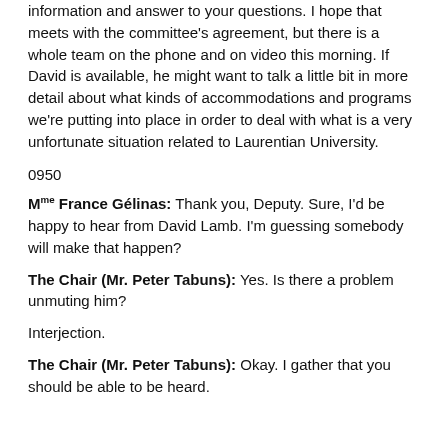information and answer to your questions. I hope that meets with the committee's agreement, but there is a whole team on the phone and on video this morning. If David is available, he might want to talk a little bit in more detail about what kinds of accommodations and programs we're putting into place in order to deal with what is a very unfortunate situation related to Laurentian University.
0950
Mme France Gélinas: Thank you, Deputy. Sure, I'd be happy to hear from David Lamb. I'm guessing somebody will make that happen?
The Chair (Mr. Peter Tabuns): Yes. Is there a problem unmuting him?
Interjection.
The Chair (Mr. Peter Tabuns): Okay. I gather that you should be able to be heard.